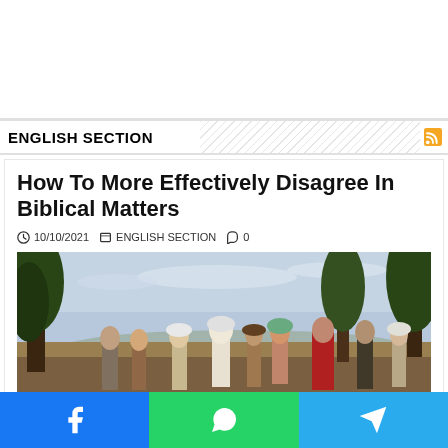[Figure (other): Advertisement/blank white space at top of page]
ENGLISH SECTION
How To More Effectively Disagree In Biblical Matters
10/10/2021   ENGLISH SECTION   0
[Figure (illustration): Classical painting depicting a group of people in historical dress gathered outdoors with trees in the background]
Facebook | WhatsApp | Telegram social share buttons